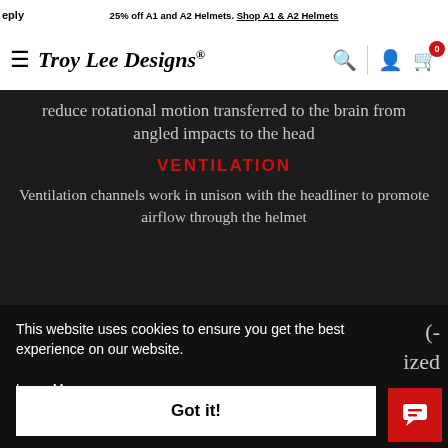eply   25% off A1 and A2 Helmets. Shop A1 & A2 Helmets
Troy Lee Designs [navigation bar with hamburger menu, search, account, cart icons]
reduce rotational motion transferred to the brain from angled impacts to the head
VENTILATION
Ventilation channels work in unison with the headliner to promote airflow through the helmet
This website uses cookies to ensure you get the best experience on our website.
Learn More
ized
Got it!